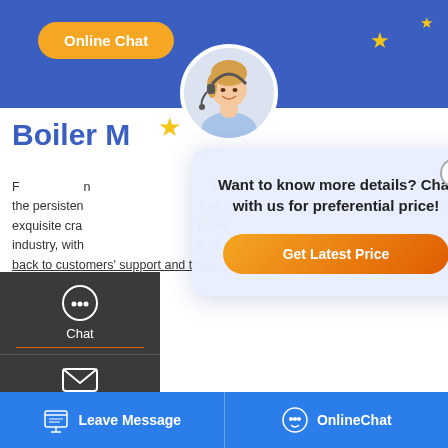[Figure (screenshot): Website screenshot showing a boiler manufacturer page with a chat popup overlay, sidebar navigation, and bottom footer bar]
Online Chat
Want to know more details? Chat with us for preferential price!
Get Latest Price
Boiler M
For more tha...boilers, the persisten...it of exquisite cra...boiler industry, with...y, to give back to customers' support and trust.
Our Products
Chat
Email
Contact
Save Stickers on WhatsApp
ater Boiler
Leave Message    OnlineChat